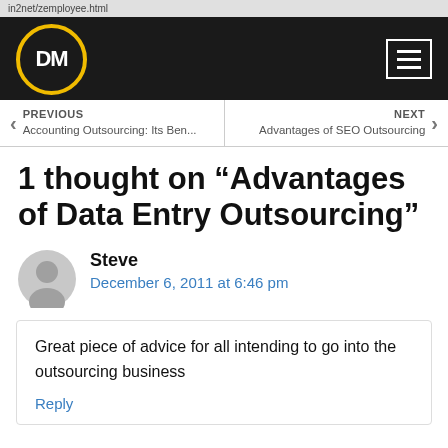DM
PREVIOUS
Accounting Outsourcing: Its Ben...
NEXT
Advantages of SEO Outsourcing
1 thought on “Advantages of Data Entry Outsourcing”
Steve
December 6, 2011 at 6:46 pm
Great piece of advice for all intending to go into the outsourcing business
Reply